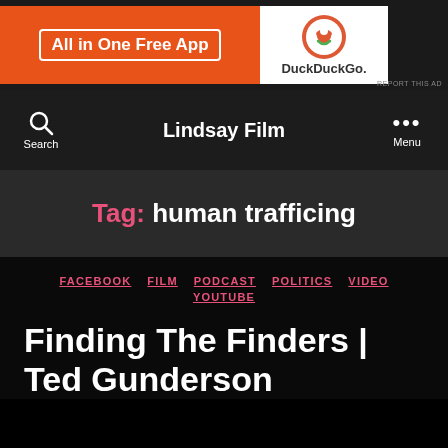[Figure (screenshot): Advertisement banner showing 'All in One Free App' on orange background and DuckDuckGo logo on white background]
Lindsay Film
Tag: human trafficing
FACEBOOK  FILM  PODCAST  POLITICS  VIDEO  YOUTUBE
Finding The Finders | Ted Gunderson